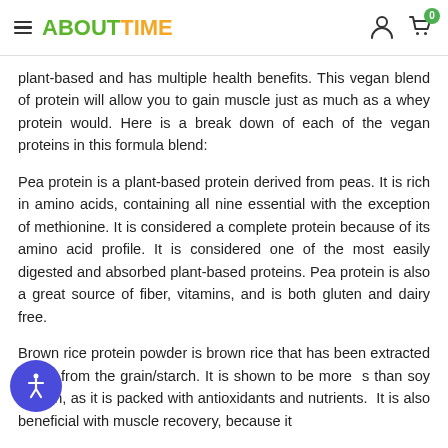ABOUTTIME
plant-based and has multiple health benefits. This vegan blend of protein will allow you to gain muscle just as much as a whey protein would. Here is a break down of each of the vegan proteins in this formula blend:
Pea protein is a plant-based protein derived from peas. It is rich in amino acids, containing all nine essential with the exception of methionine. It is considered a complete protein because of its amino acid profile. It is considered one of the most easily digested and absorbed plant-based proteins. Pea protein is also a great source of fiber, vitamins, and is both gluten and dairy free.
Brown rice protein powder is brown rice that has been extracted rated from the grain/starch. It is shown to be more s than soy protein, as it is packed with antioxidants and nutrients. It is also beneficial with muscle recovery, because it